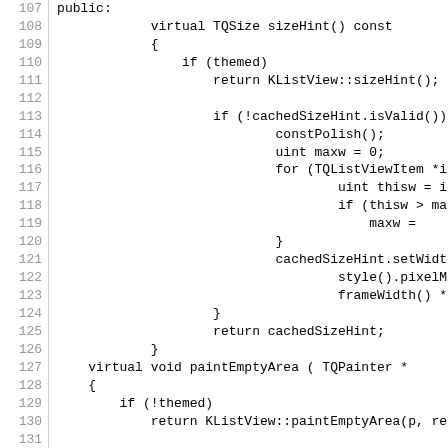[Figure (screenshot): Source code listing showing C++ code for a ListView widget with virtual methods sizeHint() and paintEmptyArea(), with line numbers 107-137. Code is displayed in monospace font on white background.]